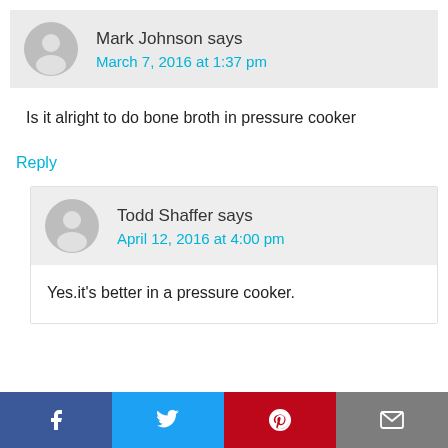Mark Johnson says
March 7, 2016 at 1:37 pm
Is it alright to do bone broth in pressure cooker
Reply
Todd Shaffer says
April 12, 2016 at 4:00 pm
Yes.it's better in a pressure cooker.